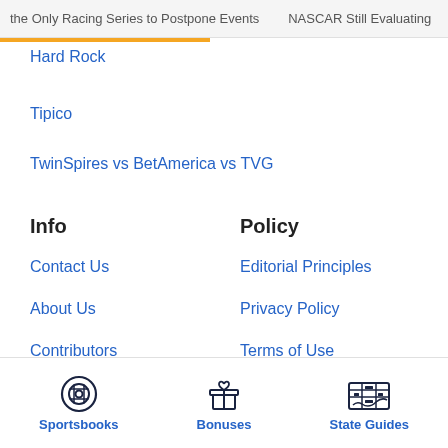the Only Racing Series to Postpone Events    NASCAR Still Evaluating
Hard Rock
Tipico
TwinSpires vs BetAmerica vs TVG
Info
Contact Us
About Us
Contributors
Careers
Policy
Editorial Principles
Privacy Policy
Terms of Use
Underage Policy
Sportsbooks  Bonuses  State Guides